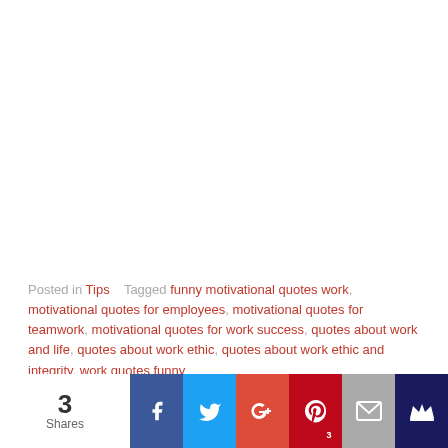Posted in Tips   Tagged funny motivational quotes work, motivational quotes for employees, motivational quotes for teamwork, motivational quotes for work success, quotes about work and life, quotes about work ethic, quotes about work ethic and integrity, work quotes funny
[Figure (infographic): Social share bar with counts: 3 Shares total. Buttons: Facebook, Twitter, Google+, Pinterest (3), Email, Crown/other]